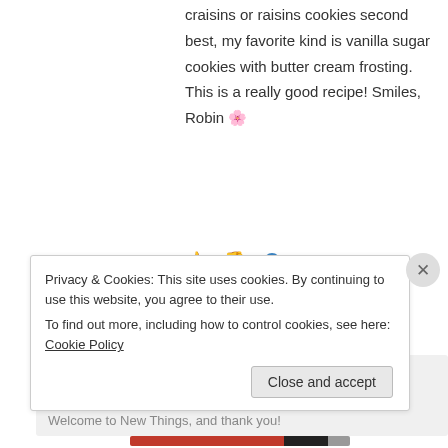craisins or raisins cookies second best, my favorite kind is vanilla sugar cookies with butter cream frosting. This is a really good recipe! Smiles, Robin 🌸
👍 0 👎 0 ℹ️ Rate This
↪ Reply
New Things on July 3, 2017 at 6:45 PM
Welcome to New Things, and thank you!
Privacy & Cookies: This site uses cookies. By continuing to use this website, you agree to their use.
To find out more, including how to control cookies, see here: Cookie Policy
Close and accept